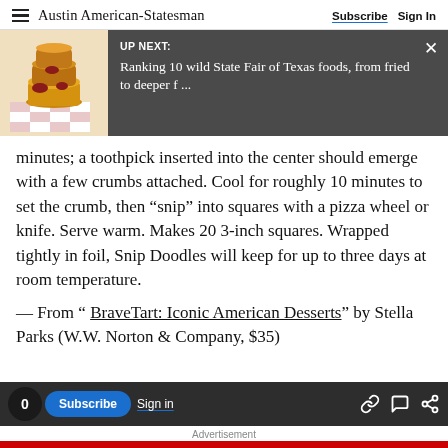Austin American-Statesman — Subscribe  Sign In
[Figure (screenshot): UP NEXT banner with food image showing fried foods on checkered paper, dark grey background, title: Ranking 10 wild State Fair of Texas foods, from fried to deeper f ...]
minutes; a toothpick inserted into the center should emerge with a few crumbs attached. Cool for roughly 10 minutes to set the crumb, then “snip” into squares with a pizza wheel or knife. Serve warm. Makes 20 3-inch squares. Wrapped tightly in foil, Snip Doodles will keep for up to three days at room temperature.
— From “ BraveTart: Iconic American Desserts” by Stella Parks (W.W. Norton & Company, $35)
0  Subscribe  Sign in  Advertisement